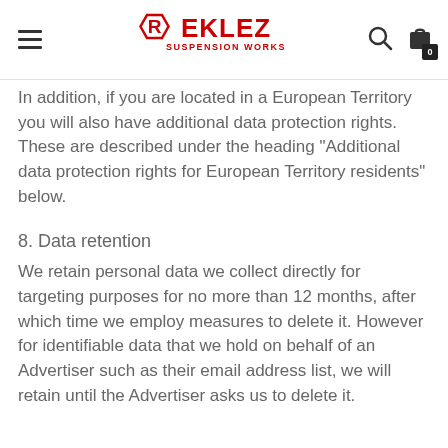REKLEZ SUSPENSION WORKS
In addition, if you are located in a European Territory you will also have additional data protection rights. These are described under the heading "Additional data protection rights for European Territory residents" below.
8. Data retention
We retain personal data we collect directly for targeting purposes for no more than 12 months, after which time we employ measures to delete it. However for identifiable data that we hold on behalf of an Advertiser such as their email address list, we will retain until the Advertiser asks us to delete it.